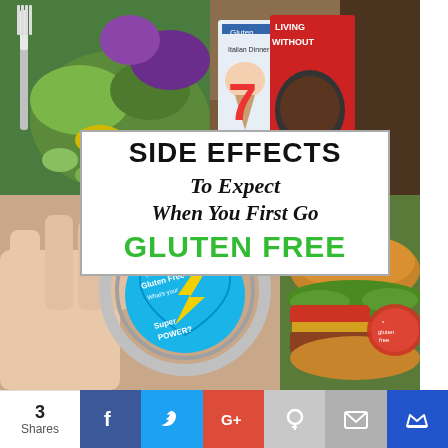[Figure (photo): Collage of four food/lifestyle photos: top-left shows a colorful vegetable salad with a fork, top-right shows gluten-free magazine covers, bottom-left shows a hand holding a heart-shaped keychain reading 'I'm Gluten Free What's your Super Power?', bottom-right shows a sandwich with a 'gluten free' label sticker. Overlaid with title text and a red number 7.]
7 SIDE EFFECTS To Expect When You First Go GLUTEN FREE
[Figure (infographic): Social sharing bar at the bottom showing 3 Shares, with Facebook, Twitter, Google+, Pinterest, email, and crown/bookmark buttons.]